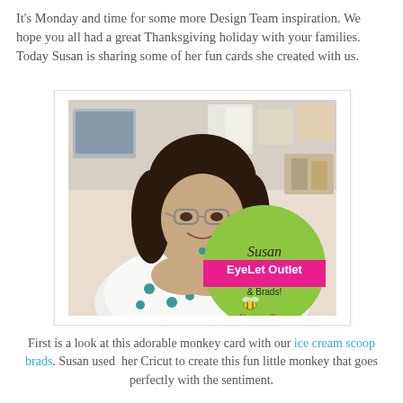It's Monday and time for some more Design Team inspiration. We hope you all had a great Thanksgiving holiday with your families. Today Susan is sharing some of her fun cards she created with us.
[Figure (photo): Photo of Susan smiling with her chin resting on her hands, in a craft/office setting. Overlaid with a circular green badge reading 'Susan EyeLet Outlet & Brads! Design Team']
First is a look at this adorable monkey card with our ice cream scoop brads. Susan used her Cricut to create this fun little monkey that goes perfectly with the sentiment.